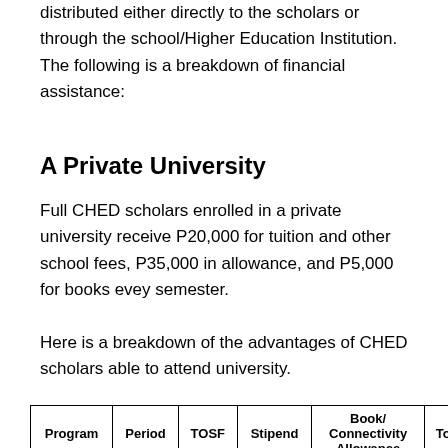distributed either directly to the scholars or through the school/Higher Education Institution. The following is a breakdown of financial assistance:
A Private University
Full CHED scholars enrolled in a private university receive P20,000 for tuition and other school fees, P35,000 in allowance, and P5,000 for books evey semester.
Here is a breakdown of the advantages of CHED scholars able to attend university.
| Program | Period | TOSF | Stipend | Book/
Connectivity
Allowance | Total |
| --- | --- | --- | --- | --- | --- |